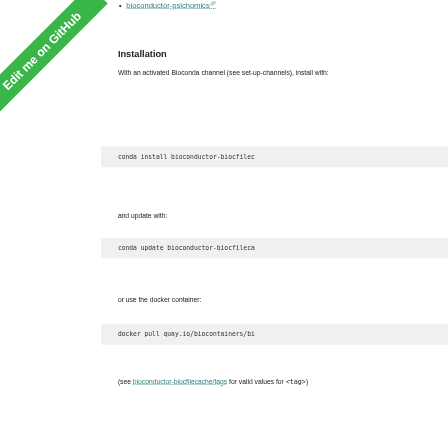bioconductor-psichomics
Installation
With an activated Bioconda channel (see set-up-channels), install with:
conda install bioconductor-biocfileca
and update with:
conda update bioconductor-biocfileca
or use the docker container:
docker pull quay.io/biocontainers/bi
(see bioconductor-biocfilecache/tags for valid values for <tag>)